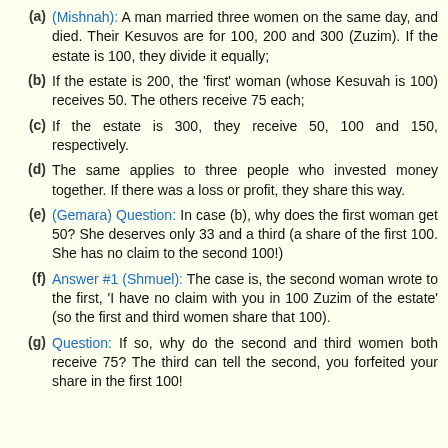(a) (Mishnah): A man married three women on the same day, and died. Their Kesuvos are for 100, 200 and 300 (Zuzim). If the estate is 100, they divide it equally;
(b) If the estate is 200, the 'first' woman (whose Kesuvah is 100) receives 50. The others receive 75 each;
(c) If the estate is 300, they receive 50, 100 and 150, respectively.
(d) The same applies to three people who invested money together. If there was a loss or profit, they share this way.
(e) (Gemara) Question: In case (b), why does the first woman get 50? She deserves only 33 and a third (a share of the first 100. She has no claim to the second 100!)
(f) Answer #1 (Shmuel): The case is, the second woman wrote to the first, 'I have no claim with you in 100 Zuzim of the estate' (so the first and third women share that 100).
(g) Question: If so, why do the second and third women both receive 75? The third can tell the second, you forfeited your share in the first 100!